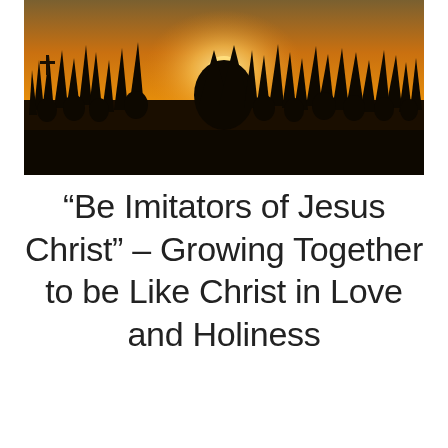[Figure (photo): Silhouette of crowd with hands raised against a warm orange and yellow sunset sky, suggesting worship or celebration.]
“Be Imitators of Jesus Christ” – Growing Together to be Like Christ in Love and Holiness